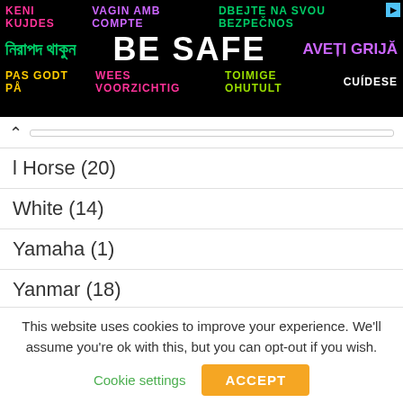[Figure (infographic): Banner advertisement with multilingual 'Be Safe' message on black background with colorful text in multiple languages]
l Horse (20)
White (14)
Yamaha (1)
Yanmar (18)
Zetor (11)
Zetor Zebra (1)
[Figure (infographic): Middle advertisement area with play and close icons]
This website uses cookies to improve your experience. We'll assume you're ok with this, but you can opt-out if you wish.